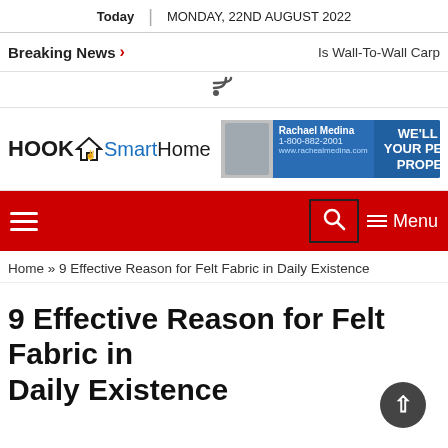Today | MONDAY, 22ND AUGUST 2022
Breaking News > Is Wall-To-Wall Carp
[Figure (other): RSS feed icon]
[Figure (logo): HOOK1 SmartHome logo]
[Figure (other): Rachael Medina real estate advertisement banner - WE'LL FIND YOUR PERFECT PROPERTY!]
[Figure (other): Red navigation bar with hamburger menu, search icon, and Menu label]
Home » 9 Effective Reason for Felt Fabric in Daily Existence
9 Effective Reason for Felt Fabric in Daily Existence